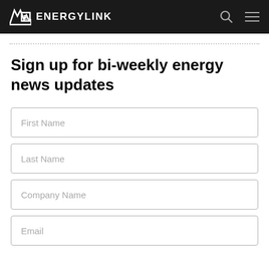ENERGYLINK
Sign up for bi-weekly energy news updates
First Name
Last Name
Company Name
Email